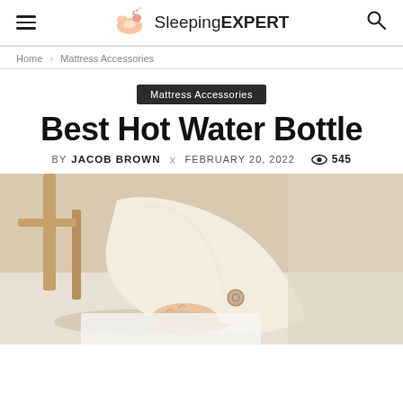SleepingEXPERT
Home › Mattress Accessories
Mattress Accessories
Best Hot Water Bottle
BY JACOB BROWN  x  FEBRUARY 20, 2022  👁 545
[Figure (photo): A person in a cream/ivory coat sitting near a wooden chair, holding or touching something on their lap — lifestyle photo for hot water bottle article]